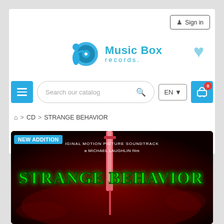[Figure (logo): Music Box Records logo with figure holding a vinyl record disc, teal/blue color]
Sign in
Search our catalog
EN
0
🏠 > CD > STRANGE BEHAVIOR
[Figure (photo): Album cover for Strange Behavior - Original Motion Picture Soundtrack, a Michael Laughlin film. Dark red/black background with a syringe and green horror-style text reading STRANGE BEHAVIOR. NEW ADDITION badge overlay.]